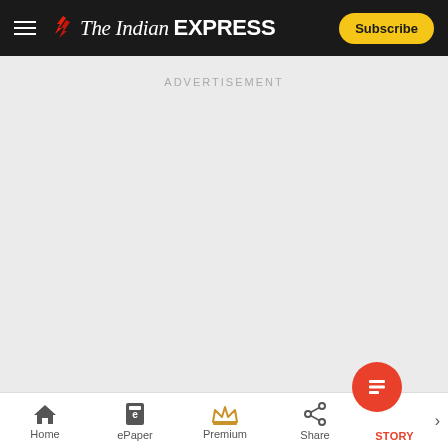The Indian EXPRESS — Subscribe
[Figure (screenshot): Advertisement placeholder area with light gray background and 'ADVERTISEMENT' label centered at top]
Home | ePaper | Premium | Share | STORY